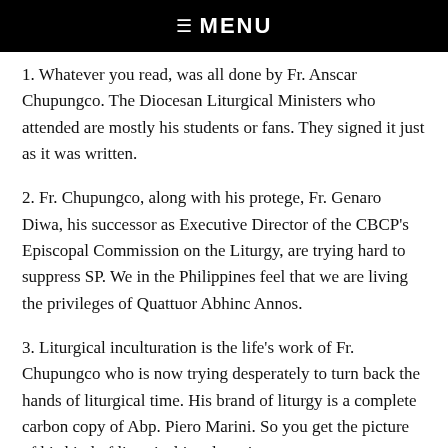☰  MENU
1. Whatever you read, was all done by Fr. Anscar Chupungco. The Diocesan Liturgical Ministers who attended are mostly his students or fans. They signed it just as it was written.
2. Fr. Chupungco, along with his protege, Fr. Genaro Diwa, his successor as Executive Director of the CBCP's Episcopal Commission on the Liturgy, are trying hard to suppress SP. We in the Philippines feel that we are living the privileges of Quattuor Abhinc Annos.
3. Liturgical inculturation is the life's work of Fr. Chupungco who is now trying desperately to turn back the hands of liturgical time. His brand of liturgy is a complete carbon copy of Abp. Piero Marini. So you get the picture of his kind of liturgical inculturation.
4. Most Filipino bishops are against SP. Only a handful have